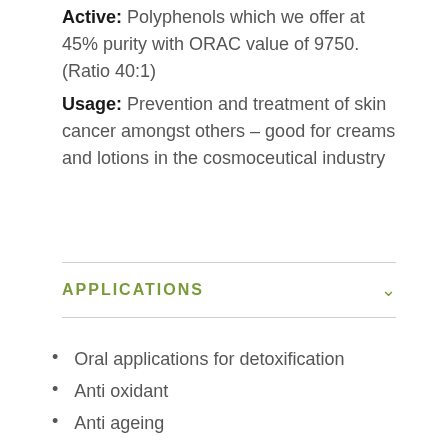Active: Polyphenols which we offer at 45% purity with ORAC value of 9750. (Ratio 40:1)
Usage: Prevention and treatment of skin cancer amongst others – good for creams and lotions in the cosmoceutical industry
APPLICATIONS
Oral applications for detoxification
Anti oxidant
Anti ageing
Heart health
Cortisol reduction